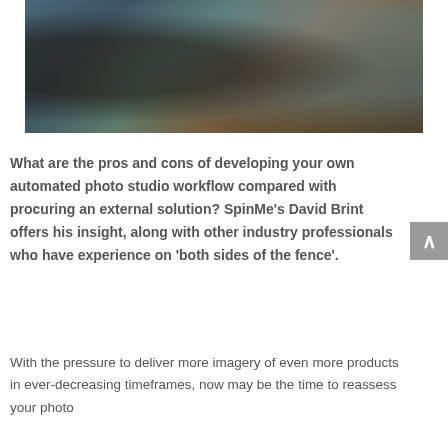[Figure (photo): A person in a teal shirt sits at a wooden desk working at a computer with a large monitor showing colorful images. A professional camera on a tripod is visible in the foreground on the left.]
What are the pros and cons of developing your own automated photo studio workflow compared with procuring an external solution? SpinMe's David Brint offers his insight, along with other industry professionals who have experience on 'both sides of the fence'.
With the pressure to deliver more imagery of even more products in ever-decreasing timeframes, now may be the time to reassess your photo